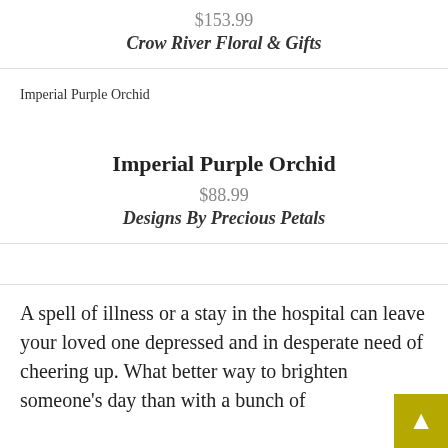$153.99
Crow River Floral & Gifts
[Figure (photo): Broken image placeholder labeled 'Imperial Purple Orchid']
Imperial Purple Orchid
$88.99
Designs By Precious Petals
A spell of illness or a stay in the hospital can leave your loved one depressed and in desperate need of cheering up. What better way to brighten someone's day than with a bunch of bright, colourful flowers that are sure to put a